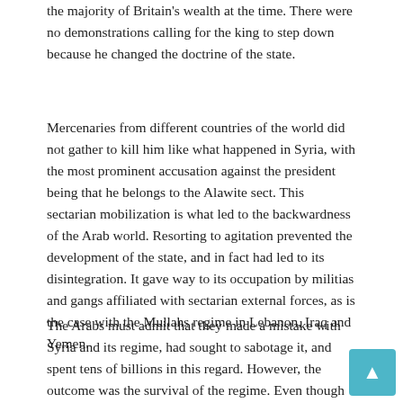the majority of Britain's wealth at the time. There were no demonstrations calling for the king to step down because he changed the doctrine of the state.
Mercenaries from different countries of the world did not gather to kill him like what happened in Syria, with the most prominent accusation against the president being that he belongs to the Alawite sect. This sectarian mobilization is what led to the backwardness of the Arab world. Resorting to agitation prevented the development of the state, and in fact had led to its disintegration. It gave way to its occupation by militias and gangs affiliated with sectarian external forces, as is the case with the Mullahs regime in Lebanon, Iraq and Yemen.
The Arabs must admit that they made a mistake with Syria and its regime, had sought to sabotage it, and spent tens of billions in this regard. However, the outcome was the survival of the regime. Even though they described the regime with all its flaws, its army was actually defending itself and its country, which is a legitimate right. The ten years in Syria imposed Iranian, Turkish and Russian